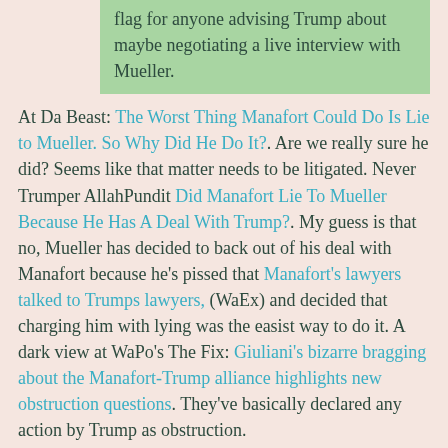flag for anyone advising Trump about maybe negotiating a live interview with Mueller.
At Da Beast: The Worst Thing Manafort Could Do Is Lie to Mueller. So Why Did He Do It?. Are we really sure he did? Seems like that matter needs to be litigated. Never Trumper AllahPundit Did Manafort Lie To Mueller Because He Has A Deal With Trump?. My guess is that no, Mueller has decided to back out of his deal with Manafort because he's pissed that Manafort's lawyers talked to Trumps lawyers, (WaEx) and decided that charging him with lying was the easist way to do it. A dark view at WaPo's The Fix: Giuliani's bizarre bragging about the Manafort-Trump alliance highlights new obstruction questions. They've basically declared any action by Trump as obstruction.
Althouse with some light stuff: "Manafort spoke to Julian Assange/Elvis's hair was black but mine's orange."
[Figure (photo): Dark/black image, appears to be a photo or video thumbnail with very dark content]